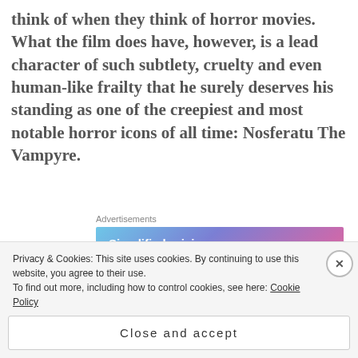think of when they think of horror movies. What the film does have, however, is a lead character of such subtlety, cruelty and even human-like frailty that he surely deserves his standing as one of the creepiest and most notable horror icons of all time: Nosferatu The Vampyre.
[Figure (other): Advertisement banner: 'Simplified pricing for everything you need.' with WordPress.com logo on a blue-purple-pink gradient background]
This film is possibly my favourite horror film of
Privacy & Cookies: This site uses cookies. By continuing to use this website, you agree to their use. To find out more, including how to control cookies, see here: Cookie Policy
Close and accept